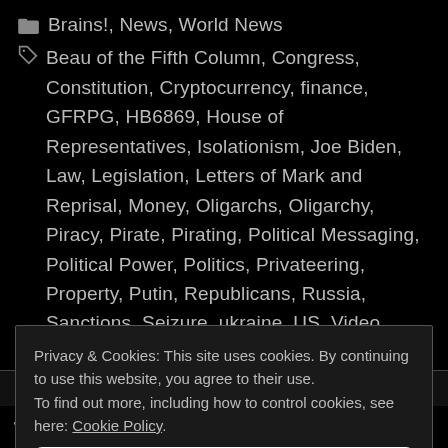Brains!, News, World News
Beau of the Fifth Column, Congress, Constitution, Cryptocurrency, finance, GFRPG, HB6869, House of Representatives, Isolationism, Joe Biden, Law, Legislation, Letters of Mark and Reprisal, Money, Oligarchs, Oligarchy, Piracy, Pirate, Pirating, Political Messaging, Political Power, Politics, Privateering, Property, Putin, Republicans, Russia, Sanctions, Seizure, ukraine, US, Video, War, Wealth
Leave a comment
Privacy & Cookies: This site uses cookies. By continuing to use this website, you agree to their use. To find out more, including how to control cookies, see here: Cookie Policy
Close and accept
fuel tank facility in Hawaii